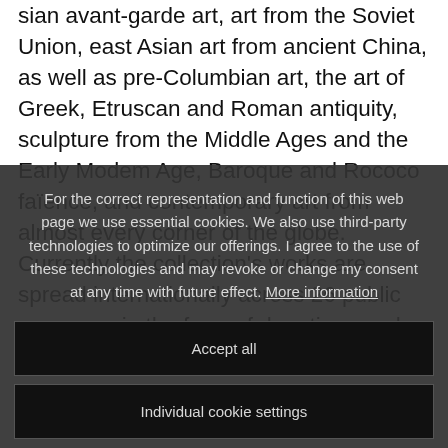sian avant-garde art, art from the Soviet Union, east Asian art from ancient China, as well as pre-Columbian art, the art of Greek, Etruscan and Roman antiquity, sculpture from the Middle Ages and the Early Modem Age, Baroque and Rococo faïence, and contemporary art from almost every corner of the globe. Currently the collection's works are spread internationally across 26 public museums in the form of donations and permanent loans. And ...
For the correct representation and function of this web page we use essential cookies. We also use third-party technologies to optimize our offerings. I agree to the use of these technologies and may revoke or change my consent at any time with future effect. More information
Accept all
Individual cookie settings